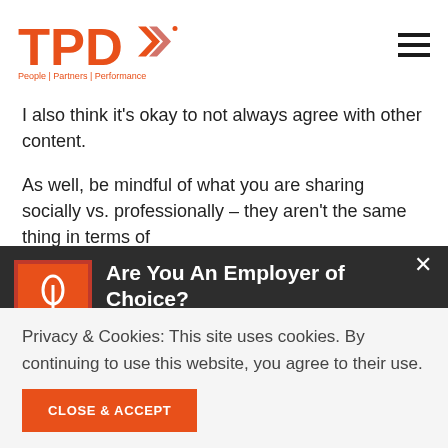TPD — People | Partners | Performance
I also think it's okay to not always agree with other content.
As well, be mindful of what you are sharing socially vs. professionally – they aren't the same thing in terms of
[Figure (screenshot): Popup modal with book cover image for 'Employer Branding 101' and text: Are You An Employer of Choice? There is a reason why companies like Google, Zappos and Apple have people lining up to work]
Privacy & Cookies: This site uses cookies. By continuing to use this website, you agree to their use.
CLOSE & ACCEPT